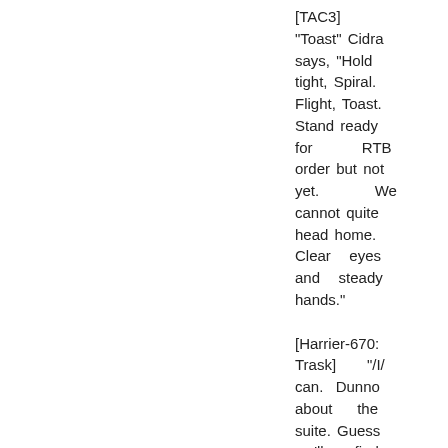[TAC3] "Toast" Cidra says, "Hold tight, Spiral. Flight, Toast. Stand ready for RTB order but not yet. We cannot quite head home. Clear eyes and steady hands."
[Harrier-670: Trask] "/I/ can. Dunno about the suite. Guess we'll find out." Trask takes aim for one more round of